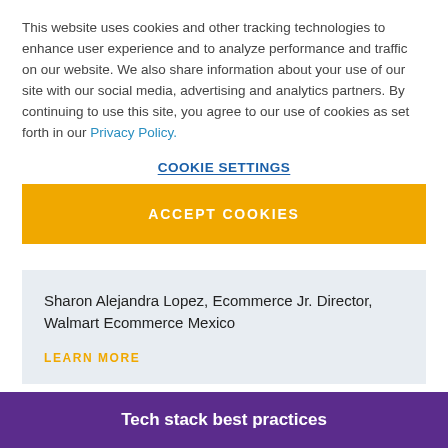This website uses cookies and other tracking technologies to enhance user experience and to analyze performance and traffic on our website. We also share information about your use of our site with our social media, advertising and analytics partners. By continuing to use this site, you agree to our use of cookies as set forth in our Privacy Policy.
COOKIE SETTINGS
ACCEPT COOKIES
Sharon Alejandra Lopez, Ecommerce Jr. Director, Walmart Ecommerce Mexico
LEARN MORE
Tech stack best practices